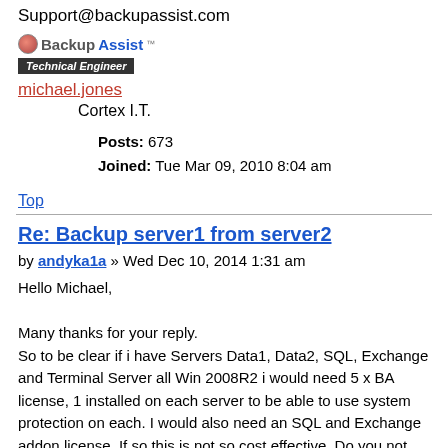Support@backupassist.com
[Figure (logo): BackupAssist logo with 'Technical Engineer' badge]
michael.jones
        Cortex I.T.
Posts: 673
Joined: Tue Mar 09, 2010 8:04 am
Top
Re: Backup server1 from server2
by andyka1a » Wed Dec 10, 2014 1:31 am
Hello Michael,

Many thanks for your reply.
So to be clear if i have Servers Data1, Data2, SQL, Exchange and Terminal Server all Win 2008R2 i would need 5 x BA license, 1 installed on each server to be able to use system protection on each. I would also need an SQL and Exchange addon license. If so this is not so cost effective. Do you not have a single domain